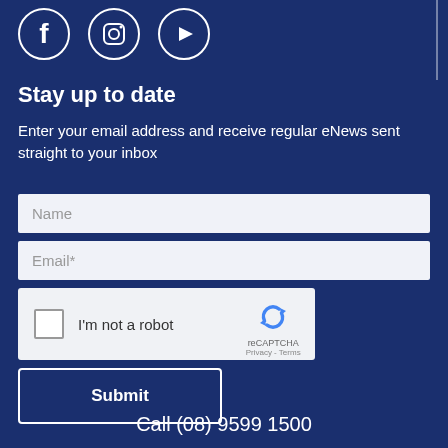[Figure (illustration): Social media icons: Facebook, Instagram, YouTube circles with white icons on dark navy background]
Stay up to date
Enter your email address and receive regular eNews sent straight to your inbox
[Figure (screenshot): Web form with Name input field, Email* input field, reCAPTCHA checkbox widget, and Submit button]
Call (08) 9599 1500